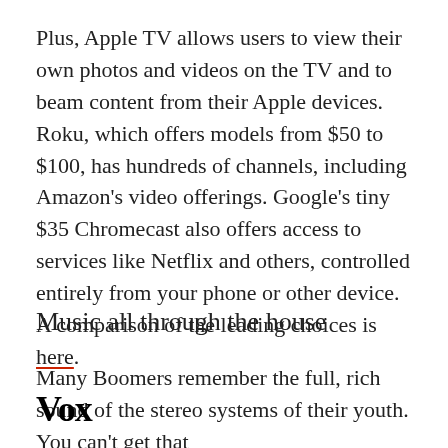Plus, Apple TV allows users to view their own photos and videos on the TV and to beam content from their Apple devices. Roku, which offers models from $50 to $100, has hundreds of channels, including Amazon's video offerings. Google's tiny $35 Chromecast also offers access to services like Netflix and others, controlled entirely from your phone or other device. A comparison of the leading choices is here.
Music all through the house
Many Boomers remember the full, rich sound of the stereo systems of their youth. You can't get that
Vox